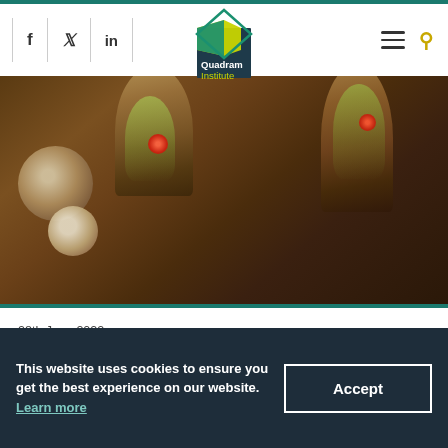f | 🐦 | in  [Quadram Institute logo]  ☰ 🔍
[Figure (photo): Microscopy image showing microbiome bacteria and finger-like structures in brown/gold tones with red and green highlights, Quadram Institute logo overlay]
28th June 2022
Maternal microbiome promotes healthy development of baby
This website uses cookies to ensure you get the best experience on our website. Learn more
Accept